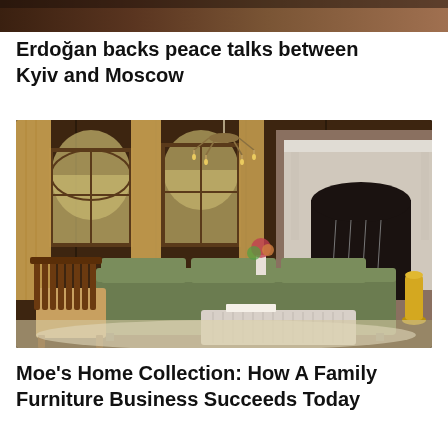[Figure (photo): Partial top portion of a photo, cropped at the top of the page]
Erdoğan backs peace talks between Kyiv and Moscow
[Figure (photo): Elegant dark-wood paneled living room with arched windows, gold curtains, a large ornate stone fireplace, a green sectional sofa, a mid-century modern wooden armchair, a ribbed rectangular coffee table, and a chandelier overhead]
Moe's Home Collection: How A Family Furniture Business Succeeds Today